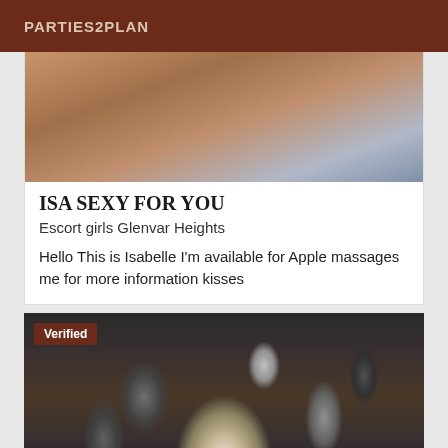PARTIES2PLAN
[Figure (photo): Partial photo of a person, cropped — showing upper back/shoulder area with colorful fabric, warm skin tones]
ISA SEXY FOR YOU
Escort girls Glenvar Heights
Hello This is Isabelle I'm available for Apple massages me for more information kisses
[Figure (photo): Black and white photograph of a young woman with curly hair holding a cigarette, surrounded by men in suits in a crowd scene. A 'Verified' badge overlays the top-left corner.]